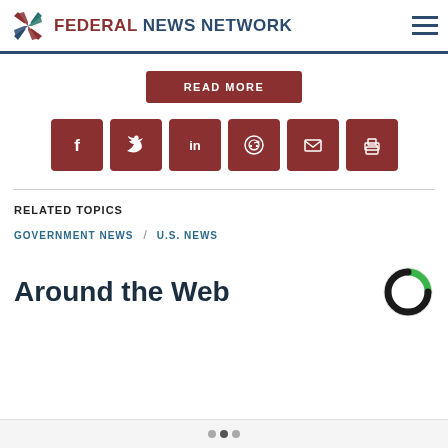Federal News Network
READ MORE
[Figure (other): Row of social media share icons: Facebook, Twitter, LinkedIn, Reddit, Email, Print]
RELATED TOPICS
GOVERNMENT NEWS / U.S. NEWS
Around the Web
pagination dots